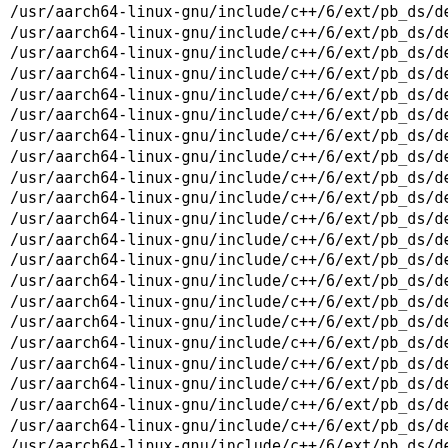/usr/aarch64-linux-gnu/include/c++/6/ext/pb_ds/det
/usr/aarch64-linux-gnu/include/c++/6/ext/pb_ds/det
/usr/aarch64-linux-gnu/include/c++/6/ext/pb_ds/det
/usr/aarch64-linux-gnu/include/c++/6/ext/pb_ds/det
/usr/aarch64-linux-gnu/include/c++/6/ext/pb_ds/det
/usr/aarch64-linux-gnu/include/c++/6/ext/pb_ds/det
/usr/aarch64-linux-gnu/include/c++/6/ext/pb_ds/det
/usr/aarch64-linux-gnu/include/c++/6/ext/pb_ds/det
/usr/aarch64-linux-gnu/include/c++/6/ext/pb_ds/det
/usr/aarch64-linux-gnu/include/c++/6/ext/pb_ds/det
/usr/aarch64-linux-gnu/include/c++/6/ext/pb_ds/det
/usr/aarch64-linux-gnu/include/c++/6/ext/pb_ds/det
/usr/aarch64-linux-gnu/include/c++/6/ext/pb_ds/det
/usr/aarch64-linux-gnu/include/c++/6/ext/pb_ds/det
/usr/aarch64-linux-gnu/include/c++/6/ext/pb_ds/det
/usr/aarch64-linux-gnu/include/c++/6/ext/pb_ds/det
/usr/aarch64-linux-gnu/include/c++/6/ext/pb_ds/det
/usr/aarch64-linux-gnu/include/c++/6/ext/pb_ds/det
/usr/aarch64-linux-gnu/include/c++/6/ext/pb_ds/det
/usr/aarch64-linux-gnu/include/c++/6/ext/pb_ds/det
/usr/aarch64-linux-gnu/include/c++/6/ext/pb_ds/det
/usr/aarch64-linux-gnu/include/c++/6/ext/pb_ds/det
/usr/aarch64-linux-gnu/include/c++/6/ext/pb_ds/det